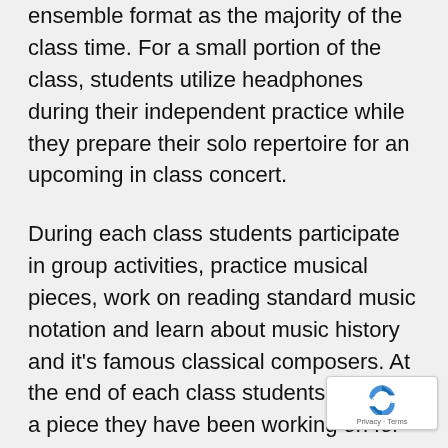ensemble format as the majority of the class time. For a small portion of the class, students utilize headphones during their independent practice while they prepare their solo repertoire for an upcoming in class concert.
During each class students participate in group activities, practice musical pieces, work on reading standard music notation and learn about music history and it's famous classical composers. At the end of each class students perform a piece they have been working on for one another which helps build their confid… and allow them to feel proud of their accomplishments.